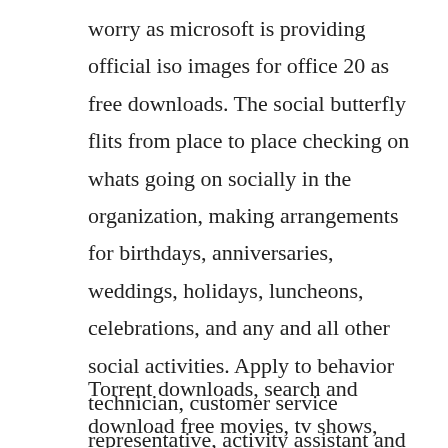worry as microsoft is providing official iso images for office 20 as free downloads. The social butterfly flits from place to place checking on whats going on socially in the organization, making arrangements for birthdays, anniversaries, weddings, holidays, luncheons, celebrations, and any and all other social activities. Apply to behavior technician, customer service representative, activity assistant and more.
Torrent downloads, search and download free movies, tv shows, music, pcps2pspwiixbox